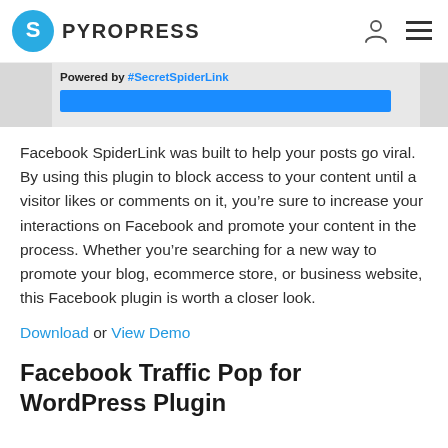PYROPRESS
[Figure (screenshot): Progress bar preview with 'Powered by #SecretSpiderLink' text and a blue bar below it, on a light grey background]
Facebook SpiderLink was built to help your posts go viral. By using this plugin to block access to your content until a visitor likes or comments on it, you're sure to increase your interactions on Facebook and promote your content in the process. Whether you're searching for a new way to promote your blog, ecommerce store, or business website, this Facebook plugin is worth a closer look.
Download or View Demo
Facebook Traffic Pop for WordPress Plugin